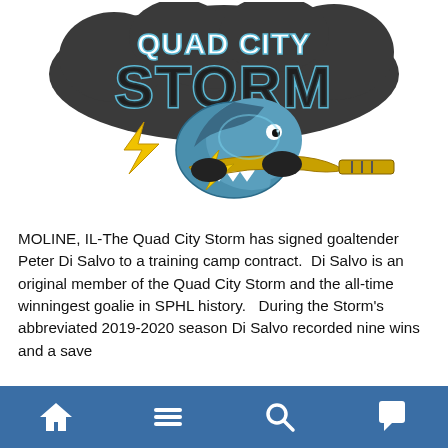[Figure (logo): Quad City Storm hockey team logo featuring a shark character holding a hockey stick shaped like a lightning bolt, with 'QUAD CITY STORM' text on a dark storm cloud background in teal, black, and gold colors.]
MOLINE, IL-The Quad City Storm has signed goaltender Peter Di Salvo to a training camp contract.  Di Salvo is an original member of the Quad City Storm and the all-time winningest goalie in SPHL history.   During the Storm's abbreviated 2019-2020 season Di Salvo recorded nine wins and a save...
[home] [menu] [search] [chat]